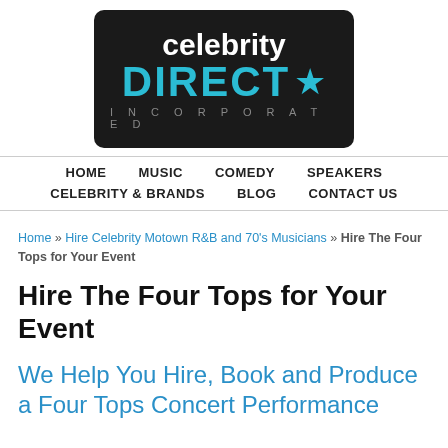[Figure (logo): Celebrity Direct Incorporated logo — dark rounded rectangle background, white 'celebrity' text, teal 'DIRECT' with star icon, grey 'INCORPORATED' letterspaced text]
HOME  MUSIC  COMEDY  SPEAKERS  CELEBRITY & BRANDS  BLOG  CONTACT US
Home » Hire Celebrity Motown R&B and 70's Musicians » Hire The Four Tops for Your Event
Hire The Four Tops for Your Event
We Help You Hire, Book and Produce a Four Tops Concert Performance